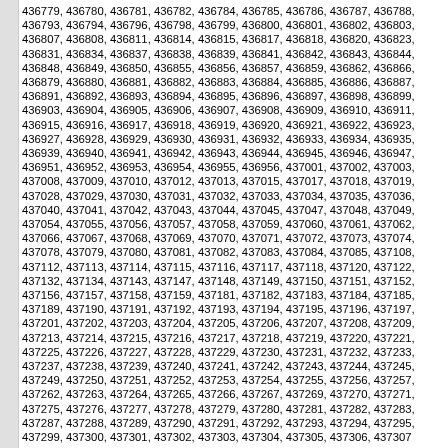436779, 436780, 436781, 436782, 436784, 436785, 436786, 436787, 436788, 436793, 436794, 436796, 436798, 436799, 436800, 436801, 436802, 436803, 436807, 436808, 436811, 436814, 436815, 436817, 436818, 436820, 436823, 436831, 436834, 436837, 436838, 436839, 436841, 436842, 436843, 436844, 436848, 436849, 436850, 436855, 436856, 436857, 436859, 436862, 436866, 436879, 436880, 436881, 436882, 436883, 436884, 436885, 436886, 436887, 436891, 436892, 436893, 436894, 436895, 436896, 436897, 436898, 436899, 436903, 436904, 436905, 436906, 436907, 436908, 436909, 436910, 436911, 436915, 436916, 436917, 436918, 436919, 436920, 436921, 436922, 436923, 436927, 436928, 436929, 436930, 436931, 436932, 436933, 436934, 436935, 436939, 436940, 436941, 436942, 436943, 436944, 436945, 436946, 436947, 436951, 436952, 436953, 436954, 436955, 436956, 437001, 437002, 437003, 437008, 437009, 437010, 437012, 437013, 437015, 437017, 437018, 437019, 437028, 437029, 437030, 437031, 437032, 437033, 437034, 437035, 437036, 437040, 437041, 437042, 437043, 437044, 437045, 437047, 437048, 437049, 437054, 437055, 437056, 437057, 437058, 437059, 437060, 437061, 437062, 437066, 437067, 437068, 437069, 437070, 437071, 437072, 437073, 437074, 437078, 437079, 437080, 437081, 437082, 437083, 437084, 437085, 437108, 437112, 437113, 437114, 437115, 437116, 437117, 437118, 437120, 437122, 437132, 437134, 437143, 437147, 437148, 437149, 437150, 437151, 437152, 437156, 437157, 437158, 437159, 437181, 437182, 437183, 437184, 437185, 437189, 437190, 437191, 437192, 437193, 437194, 437195, 437196, 437197, 437201, 437202, 437203, 437204, 437205, 437206, 437207, 437208, 437209, 437213, 437214, 437215, 437216, 437217, 437218, 437219, 437220, 437221, 437225, 437226, 437227, 437228, 437229, 437230, 437231, 437232, 437233, 437237, 437238, 437239, 437240, 437241, 437242, 437243, 437244, 437245, 437249, 437250, 437251, 437252, 437253, 437254, 437255, 437256, 437257, 437262, 437263, 437264, 437265, 437266, 437267, 437269, 437270, 437271, 437275, 437276, 437277, 437278, 437279, 437280, 437281, 437282, 437283, 437287, 437288, 437289, 437290, 437291, 437292, 437293, 437294, 437295, 437299, 437300, 437301, 437302, 437303, 437304, 437305, 437306, 437307